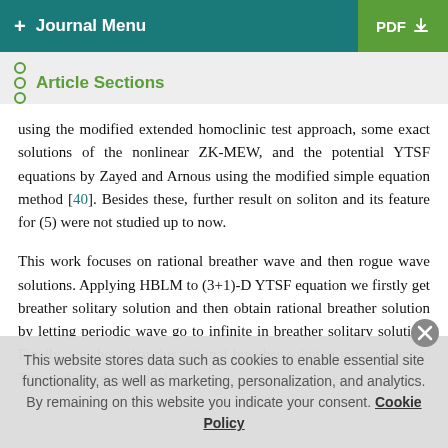+ Journal Menu | PDF ↓
Article Sections
using the modified extended homoclinic test approach, some exact solutions of the nonlinear ZK-MEW, and the potential YTSF equations by Zayed and Arnous using the modified simple equation method [40]. Besides these, further result on soliton and its feature for (5) were not studied up to now.
This work focuses on rational breather wave and then rogue wave solutions. Applying HBLM to (3+1)-D YTSF equation we firstly get breather solitary solution and then obtain rational breather solution by letting periodic wave go to infinite in breather solitary solution. Finally, we show that this rational breather...
This website stores data such as cookies to enable essential site functionality, as well as marketing, personalization, and analytics. By remaining on this website you indicate your consent. Cookie Policy